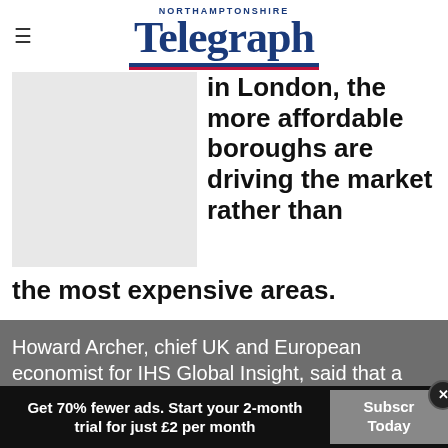Northamptonshire Telegraph
[Figure (photo): Gray placeholder image on left side of article]
in London, the more affordable boroughs are driving the market rather than the most expensive areas.
Howard Archer, chief UK and European economist for IHS Global Insight, said that a
Get 70% fewer ads. Start your 2-month trial for just £2 per month
Subscribe Today